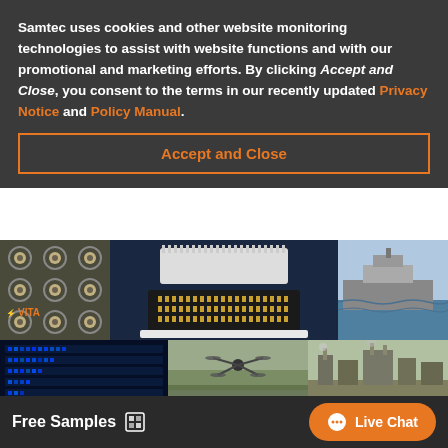Samtec uses cookies and other website monitoring technologies to assist with website functions and with our promotional and marketing efforts. By clicking Accept and Close, you consent to the terms in our recently updated Privacy Notice and Policy Manual.
Accept and Close
[Figure (photo): Grid of industrial image panels: top-left shows BNC circular connectors panel, center shows black electronic connector product on dark blue background with VITA label, right shows naval ship at sea. Bottom row shows blue server rack, military drone, and industrial facility.]
Free Samples
Live Chat